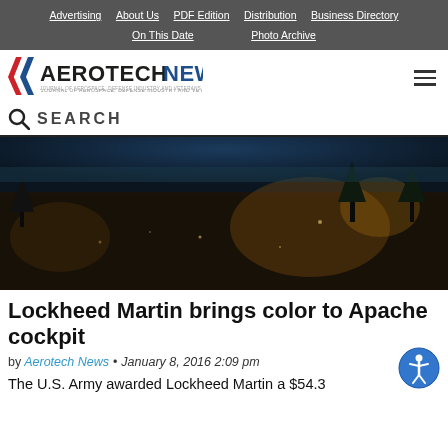Advertising | About Us | PDF Edition | Distribution | Business Directory | On This Date | Photo Archive
[Figure (logo): Aerotech News logo with stylized chevron in red, white, and blue, and tagline 'Journal of Aerospace, Defense Industry and Veterans News']
SEARCH
[Figure (photo): Dark aerial photograph of a suburban/forested landscape viewed from above, with houses and trees visible]
Lockheed Martin brings color to Apache cockpit
by Aerotech News • January 8, 2016 2:09 pm
The U.S. Army awarded Lockheed Martin a $54.3